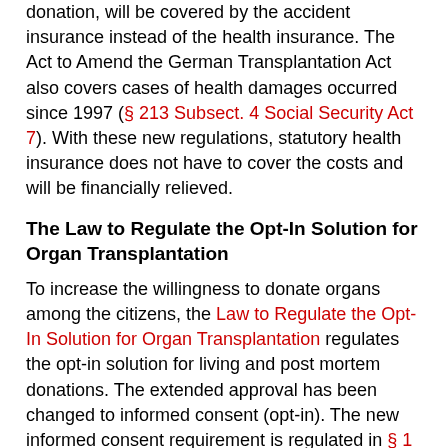donation, will be covered by the accident insurance instead of the health insurance. The Act to Amend the German Transplantation Act also covers cases of health damages occurred since 1997 (§ 213 Subsect. 4 Social Security Act 7). With these new regulations, statutory health insurance does not have to cover the costs and will be financially relieved.
The Law to Regulate the Opt-In Solution for Organ Transplantation
To increase the willingness to donate organs among the citizens, the Law to Regulate the Opt-In Solution for Organ Transplantation regulates the opt-in solution for living and post mortem donations. The extended approval has been changed to informed consent (opt-in). The new informed consent requirement is regulated in § 1 Subsec. 1 TPG (as amended) as follows:
"(1) Goal of this Act is to support the willingness of organ donation in Germany. Thus, each citizen has to be put in a position to question the own willingness to donate organs on a regular basis.